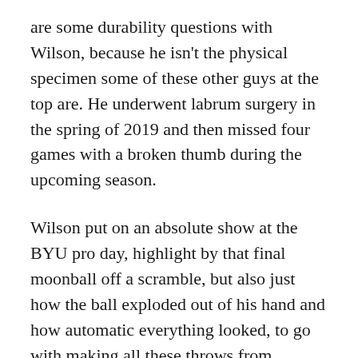are some durability questions with Wilson, because he isn't the physical specimen some of these other guys at the top are. He underwent labrum surgery in the spring of 2019 and then missed four games with a broken thumb during the upcoming season.
Wilson put on an absolute show at the BYU pro day, highlight by that final moonball off a scramble, but also just how the ball exploded out of his hand and how automatic everything looked, to go with making all these throws from different platforms and arm-angles.